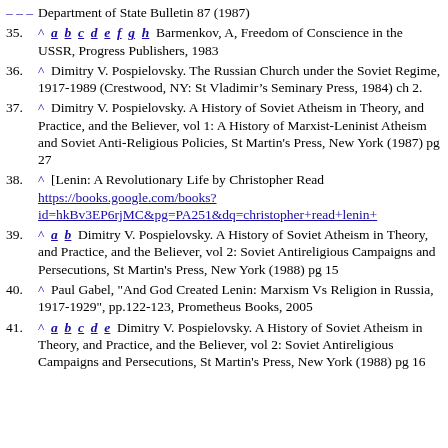(partial) Department of State Bulletin 87 (1987)
35. ^ a b c d e f g h Barmenkov, A, Freedom of Conscience in the USSR, Progress Publishers, 1983
36. ^ Dimitry V. Pospielovsky. The Russian Church under the Soviet Regime, 1917-1989 (Crestwood, NY: St Vladimir’s Seminary Press, 1984) ch 2.
37. ^ Dimitry V. Pospielovsky. A History of Soviet Atheism in Theory, and Practice, and the Believer, vol 1: A History of Marxist-Leninist Atheism and Soviet Anti-Religious Policies, St Martin's Press, New York (1987) pg 27
38. ^ [Lenin: A Revolutionary Life by Christopher Read https://books.google.com/books?id=hkBv3EP6rjMC&pg=PA251&dq=christopher+read+lenin+
39. ^ a b Dimitry V. Pospielovsky. A History of Soviet Atheism in Theory, and Practice, and the Believer, vol 2: Soviet Antireligious Campaigns and Persecutions, St Martin's Press, New York (1988) pg 15
40. ^ Paul Gabel, "And God Created Lenin: Marxism Vs Religion in Russia, 1917-1929", pp.122-123, Prometheus Books, 2005
41. ^ a b c d e Dimitry V. Pospielovsky. A History of Soviet Atheism in Theory, and Practice, and the Believer, vol 2: Soviet Antireligious Campaigns and Persecutions, St Martin's Press, New York (1988) pg 16